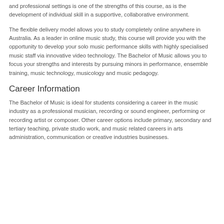and professional settings is one of the strengths of this course, as is the development of individual skill in a supportive, collaborative environment.
The flexible delivery model allows you to study completely online anywhere in Australia. As a leader in online music study, this course will provide you with the opportunity to develop your solo music performance skills with highly specialised music staff via innovative video technology. The Bachelor of Music allows you to focus your strengths and interests by pursuing minors in performance, ensemble training, music technology, musicology and music pedagogy.
Career Information
The Bachelor of Music is ideal for students considering a career in the music industry as a professional musician, recording or sound engineer, performing or recording artist or composer. Other career options include primary, secondary and tertiary teaching, private studio work, and music related careers in arts administration, communication or creative industries businesses.